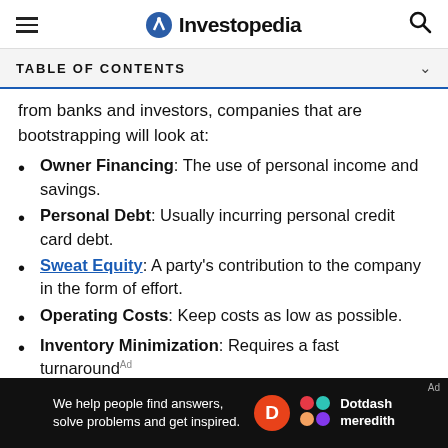Investopedia
TABLE OF CONTENTS
from banks and investors, companies that are bootstrapping will look at:
Owner Financing: The use of personal income and savings.
Personal Debt: Usually incurring personal credit card debt.
Sweat Equity: A party's contribution to the company in the form of effort.
Operating Costs: Keep costs as low as possible.
Inventory Minimization: Requires a fast turnaround
[Figure (other): Dotdash Meredith advertisement banner: 'We help people find answers, solve problems and get inspired.']